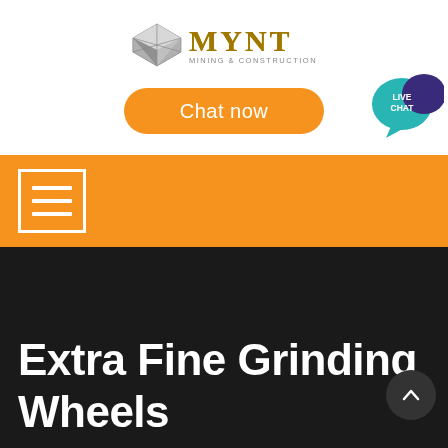[Figure (logo): MYNT Mining & Construction logo with metallic cube icon and gold text]
[Figure (screenshot): Orange 'Chat now' button (pill shaped)]
[Figure (screenshot): Live Chat speech bubble icon in teal/blue with dark purple speech bubble]
[Figure (screenshot): Orange navigation bar with hamburger menu icon (three horizontal lines in white bordered box)]
Extra Fine Grinding Wheels